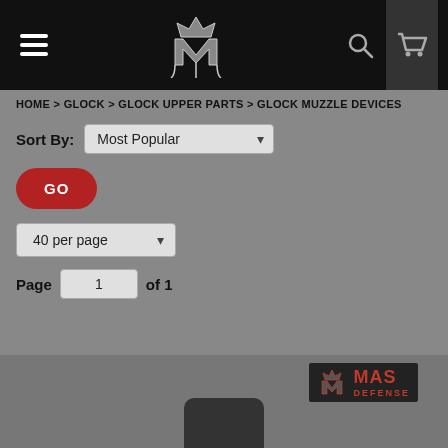[Figure (screenshot): Navigation bar with hamburger menu, MAS Defense logo, search icon, and cart icon on dark background]
HOME > GLOCK > GLOCK UPPER PARTS > GLOCK MUZZLE DEVICES
Sort By: Most Popular
GO
40 per page
Page 1 of 1
[Figure (logo): MAS Defense logo with crown and stylized M icon in red on dark background]